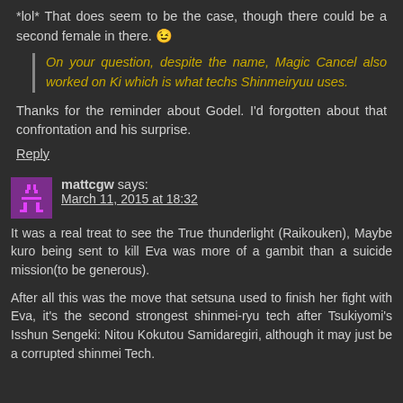*lol* That does seem to be the case, though there could be a second female in there. 😉
On your question, despite the name, Magic Cancel also worked on Ki which is what techs Shinmeiryuu uses.
Thanks for the reminder about Godel. I'd forgotten about that confrontation and his surprise.
Reply
mattcgw says:
March 11, 2015 at 18:32
It was a real treat to see the True thunderlight (Raikouken), Maybe kuro being sent to kill Eva was more of a gambit than a suicide mission(to be generous).
After all this was the move that setsuna used to finish her fight with Eva, it's the second strongest shinmei-ryu tech after Tsukiyomi's Isshun Sengeki: Nitou Kokutou Samidaregiri, although it may just be a corrupted shinmei Tech.